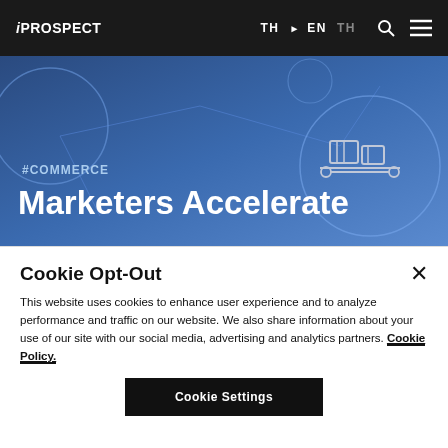iPROSPECT  TH EN  TH
[Figure (screenshot): iProspect website hero banner with dark blue background showing network/commerce icons and circles. Tag '#COMMERCE' followed by large white bold heading 'Marketers Accelerate']
#COMMERCE
Marketers Accelerate
Cookie Opt-Out
This website uses cookies to enhance user experience and to analyze performance and traffic on our website. We also share information about your use of our site with our social media, advertising and analytics partners. Cookie Policy.
Cookie Settings